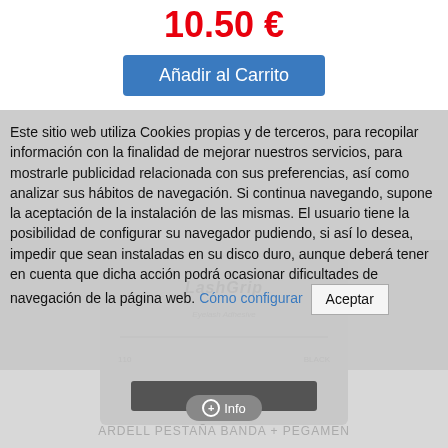10.50 €
Añadir al Carrito
Este sitio web utiliza Cookies propias y de terceros, para recopilar información con la finalidad de mejorar nuestros servicios, para mostrarle publicidad relacionada con sus preferencias, así como analizar sus hábitos de navegación. Si continua navegando, supone la aceptación de la instalación de las mismas. El usuario tiene la posibilidad de configurar su navegador pudiendo, si así lo desea, impedir que sean instaladas en su disco duro, aunque deberá tener en cuenta que dicha acción podrá ocasionar dificultades de navegación de la página web. Cómo configurar  Aceptar
[Figure (photo): Product image of Ardell LashGrip eyelashes with adhesive, showing false lashes labeled 110 BLACK]
ARDELL PESTAÑA BANDA + PEGAMEN